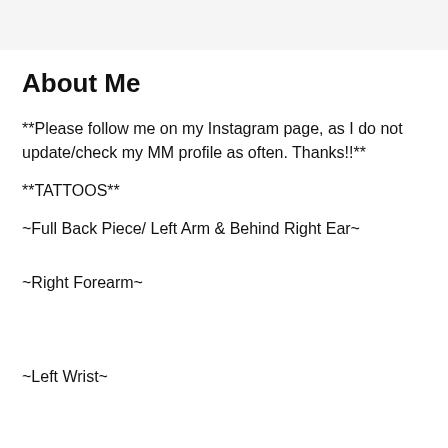About Me
**Please follow me on my Instagram page, as I do not update/check my MM profile as often. Thanks!!**
**TATTOOS**
~Full Back Piece/ Left Arm & Behind Right Ear~
~Right Forearm~
~Left Wrist~